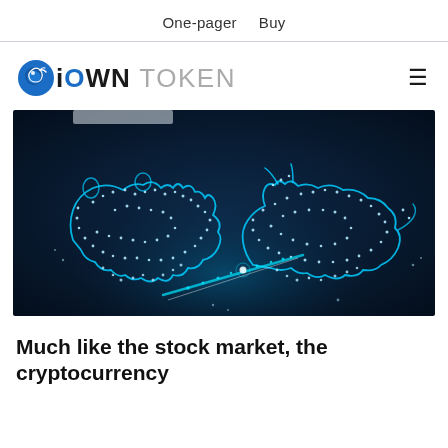One-pager   Buy
[Figure (logo): iOWN TOKEN logo with blue wolf/bear icon]
[Figure (illustration): Dark blue digital illustration of a bear and bull made of glowing dot constellations facing each other with light streaks between them, representing crypto market bear and bull markets]
Much like the stock market, the cryptocurrency